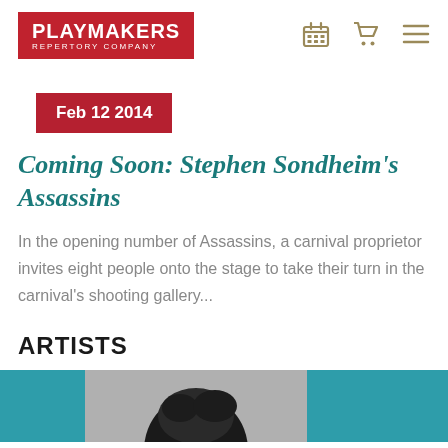PLAYMAKERS REPERTORY COMPANY
Feb 12 2014
Coming Soon: Stephen Sondheim's Assassins
In the opening number of Assassins, a carnival proprietor invites eight people onto the stage to take their turn in the carnival's shooting gallery...
ARTISTS
[Figure (photo): Artist headshot photo strip with teal background panels on left and right, black and white photo in center showing top of person's head with dark hair]